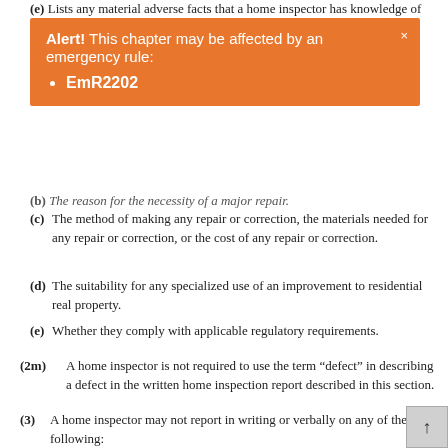(e) Lists any material adverse facts that a home inspector has knowledge of or has observed.
Alert! This chapter may be affected by an emergency rule: EmR2202
(b) The reason for the necessity of a major repair.
(c) The method of making any repair or correction, the materials needed for any repair or correction, or the cost of any repair or correction.
(d) The suitability for any specialized use of an improvement to residential real property.
(e) Whether they comply with applicable regulatory requirements.
(2m) A home inspector is not required to use the term “defect” in describing a defect in the written home inspection report described in this section.
(3) A home inspector may not report in writing or verbally on any of the following:
(a) The market value or marketability of a property.
(b) Whether a property should be purchased.
(3m) A home inspector may not use the term “defect” in the written home inspection report described in this section unless that use is consistent with s. SPS 131.02 (6m).
(4) A home inspector is not required to retain inspectors on...